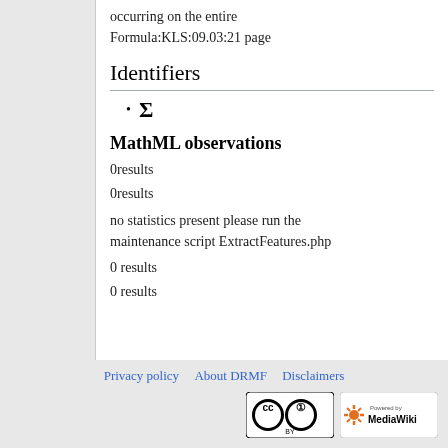occurring on the entire Formula:KLS:09.03:21 page
Identifiers
Σ
MathML observations
0results
0results
no statistics present please run the maintenance script ExtractFeatures.php
0 results
0 results
Privacy policy  About DRMF  Disclaimers